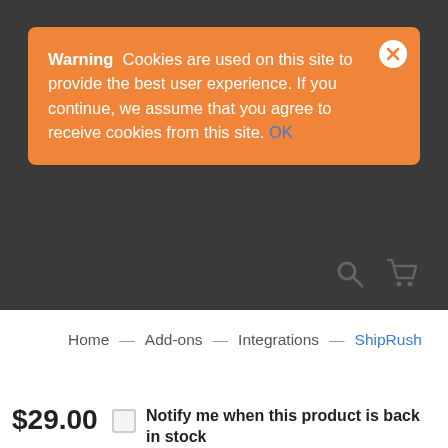Warning  Cookies are used on this site to provide the best user experience. If you continue, we assume that you agree to receive cookies from this site. OK
Home — Add-ons — Integrations — ShipRush
$29.00
Notify me when this product is back in stock